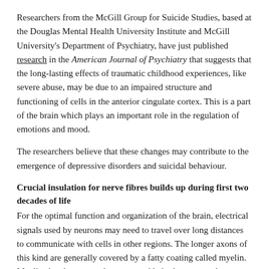Researchers from the McGill Group for Suicide Studies, based at the Douglas Mental Health University Institute and McGill University's Department of Psychiatry, have just published research in the American Journal of Psychiatry that suggests that the long-lasting effects of traumatic childhood experiences, like severe abuse, may be due to an impaired structure and functioning of cells in the anterior cingulate cortex. This is a part of the brain which plays an important role in the regulation of emotions and mood.
The researchers believe that these changes may contribute to the emergence of depressive disorders and suicidal behaviour.
Crucial insulation for nerve fibres builds up during first two decades of life
For the optimal function and organization of the brain, electrical signals used by neurons may need to travel over long distances to communicate with cells in other regions. The longer axons of this kind are generally covered by a fatty coating called myelin. Myelin sheaths protect the axons and help them to conduct electrical signals more efficiently. Myelin builds up progressively (in a process known as myelination) mainly during childhood, and then continue to mature until early adulthood.